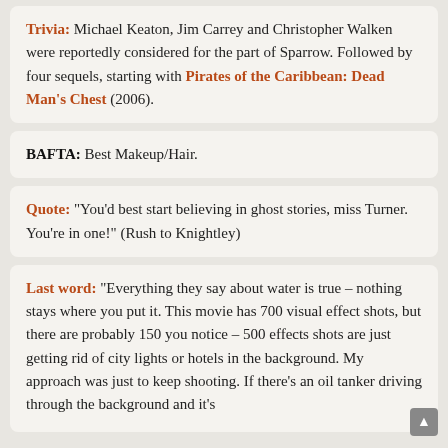Trivia: Michael Keaton, Jim Carrey and Christopher Walken were reportedly considered for the part of Sparrow. Followed by four sequels, starting with Pirates of the Caribbean: Dead Man's Chest (2006).
BAFTA: Best Makeup/Hair.
Quote: “You’d best start believing in ghost stories, miss Turner. You’re in one!” (Rush to Knightley)
Last word: “Everything they say about water is true – nothing stays where you put it. This movie has 700 visual effect shots, but there are probably 150 you notice – 500 effects shots are just getting rid of city lights or hotels in the background. My approach was just to keep shooting. If there’s an oil tanker driving through the background and it’s